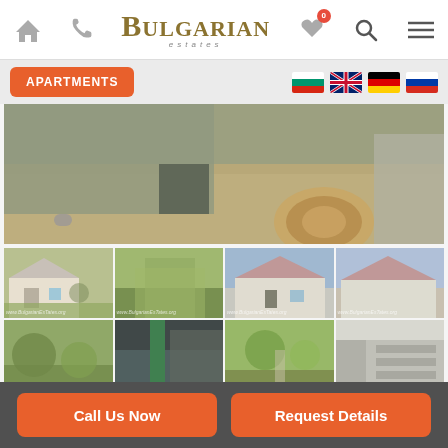[Figure (screenshot): Bulgarian Estates mobile website header with home icon, phone icon, logo, favorites icon with badge showing 0, search icon, and hamburger menu icon]
APARTMENTS
[Figure (photo): Main large property photo showing exterior ground/yard area with a decorative rug and concrete wall visible]
[Figure (photo): Grid of 8 thumbnail property photos showing Bulgarian rural house exterior, gardens, and outdoor areas, each watermarked with www.BulgarianEstates.org]
Call Us Now
Request Details